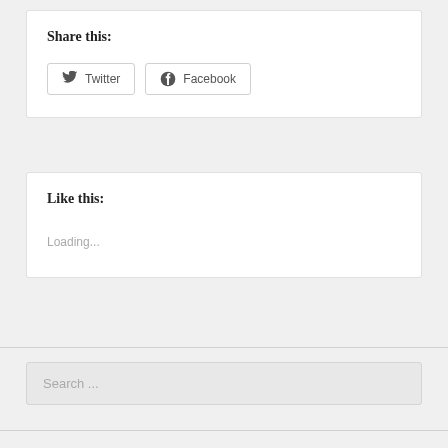Share this:
Twitter   Facebook
Like this:
Loading...
Search ...